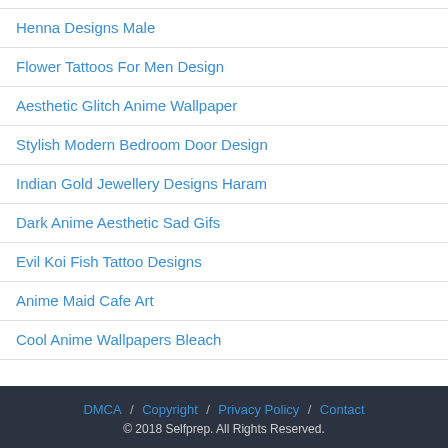Henna Designs Male
Flower Tattoos For Men Design
Aesthetic Glitch Anime Wallpaper
Stylish Modern Bedroom Door Design
Indian Gold Jewellery Designs Haram
Dark Anime Aesthetic Sad Gifs
Evil Koi Fish Tattoo Designs
Anime Maid Cafe Art
Cool Anime Wallpapers Bleach
DMCA / Copyright / Privacy Policy / Contact
© 2018 Selfprep. All Rights Reserved.